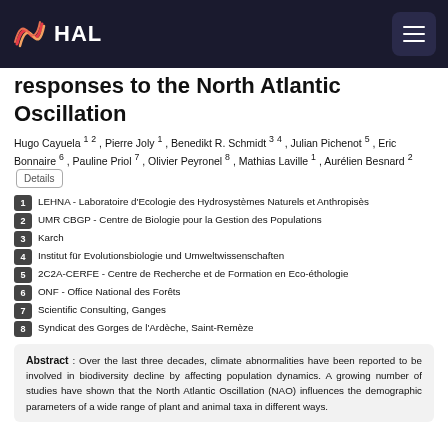HAL
responses to the North Atlantic Oscillation
Hugo Cayuela 1 2 , Pierre Joly 1 , Benedikt R. Schmidt 3 4 , Julian Pichenot 5 , Eric Bonnaire 6 , Pauline Priol 7 , Olivier Peyronel 8 , Mathias Laville 1 , Aurélien Besnard 2
1  LEHNA - Laboratoire d'Ecologie des Hydrosystèmes Naturels et Anthropisès
2  UMR CBGP - Centre de Biologie pour la Gestion des Populations
3  Karch
4  Institut für Evolutionsbiologie und Umweltwissenschaften
5  2C2A-CERFE - Centre de Recherche et de Formation en Eco-éthologie
6  ONF - Office National des Forêts
7  Scientific Consulting, Ganges
8  Syndicat des Gorges de l'Ardèche, Saint-Remèze
Abstract : Over the last three decades, climate abnormalities have been reported to be involved in biodiversity decline by affecting population dynamics. A growing number of studies have shown that the North Atlantic Oscillation (NAO) influences the demographic parameters of a wide range of plant and animal taxa in different ways.